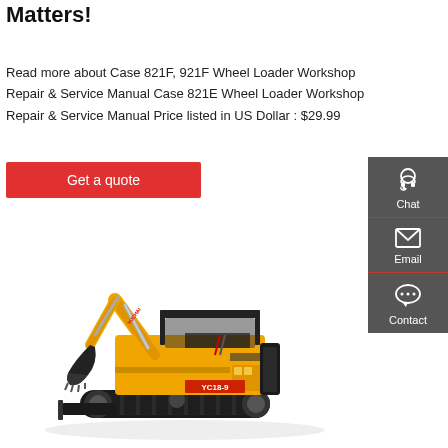Matters!
Read more about Case 821F, 921F Wheel Loader Workshop Repair & Service Manual Case 821E Wheel Loader Workshop Repair & Service Manual Price listed in US Dollar : $29.99
Get a quote
[Figure (photo): Yellow mini excavator YC18-9 with black canopy, raised arm and bucket, on rubber tracks, side view]
[Figure (infographic): Dark grey sidebar with Chat (headset icon), Email (envelope icon), and Contact (speech bubble icon) buttons]